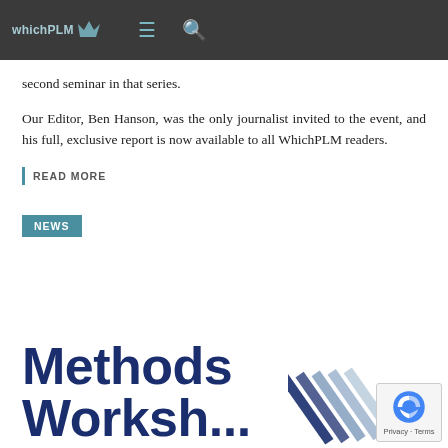whichPLM [navigation bar with hamburger menu and search icon]
second seminar in that series.
Our Editor, Ben Hanson, was the only journalist invited to the event, and his full, exclusive report is now available to all WhichPLM readers.
READ MORE
NEWS
Methods Works...